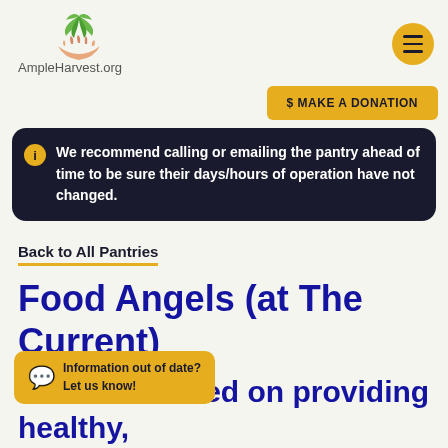AmpleHarvest.org
$ MAKE A DONATION
We recommend calling or emailing the pantry ahead of time to be sure their days/hours of operation have not changed.
Back to All Pantries
Food Angels (at The Current)
Pantry #3741
We are focused on providing healthy,
Information out of date? Let us know!